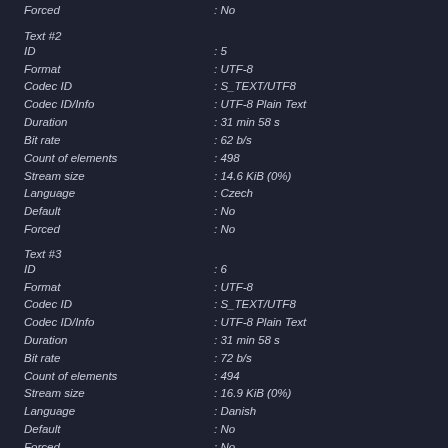Forced : No
Text #2
ID : 5
Format : UTF-8
Codec ID : S_TEXT/UTF8
Codec ID/Info : UTF-8 Plain Text
Duration : 31 min 58 s
Bit rate : 62 b/s
Count of elements : 498
Stream size : 14.6 KiB (0%)
Language : Czech
Default : No
Forced : No
Text #3
ID : 6
Format : UTF-8
Codec ID : S_TEXT/UTF8
Codec ID/Info : UTF-8 Plain Text
Duration : 31 min 58 s
Bit rate : 72 b/s
Count of elements : 494
Stream size : 16.9 KiB (0%)
Language : Danish
Default : No
Forced : No
Text #4
ID : 7
Format : UTF-8
Codec ID : S_TEXT/UTF8
Codec ID/Info : UTF-8 Plain Text
Duration : 31 min 58 s
Bit rate : 70 b/s
Count of elements : 487
Stream size : 16.4 KiB (0%)
Language : German
Default : No
Forced : No
Text #5